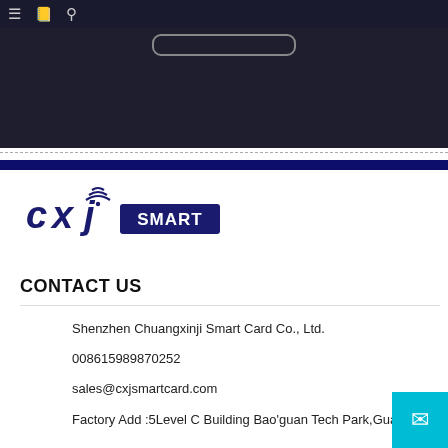≡ 📋 🔍 (navigation bar)
[Figure (screenshot): Dark banner area with a rounded pill/button shape outline at the top]
[Figure (logo): CXJ Smart logo — stylized CXJ text with wifi symbol above J, and blue SMART box]
CONTACT US
Shenzhen Chuangxinji Smart Card Co., Ltd.
008615989870252
sales@cxjsmartcard.com
Factory Add :5Level C Building Bao'guan Tech Park,Guanlan,L